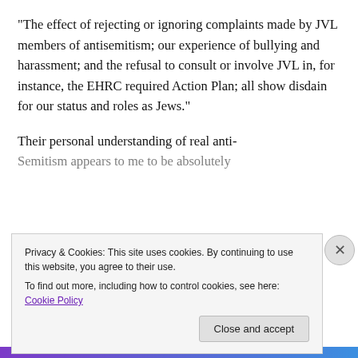“The effect of rejecting or ignoring complaints made by JVL members of antisemitism; our experience of bullying and harassment; and the refusal to consult or involve JVL in, for instance, the EHRC required Action Plan; all show disdain for our status and roles as Jews.”
Their personal understanding of real anti-
Semitism appears to me to be absolutely
Privacy & Cookies: This site uses cookies. By continuing to use this website, you agree to their use.
To find out more, including how to control cookies, see here: Cookie Policy